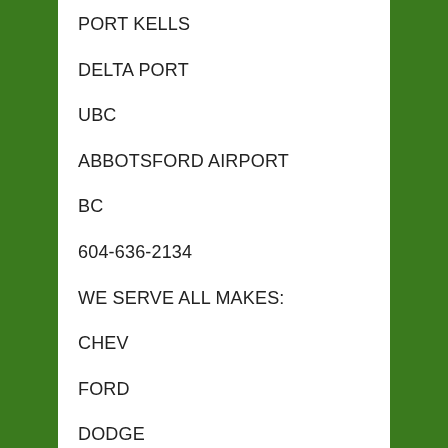PORT KELLS
DELTA PORT
UBC
ABBOTSFORD AIRPORT
BC
604-636-2134
WE SERVE ALL MAKES:
CHEV
FORD
DODGE
TOYOTA